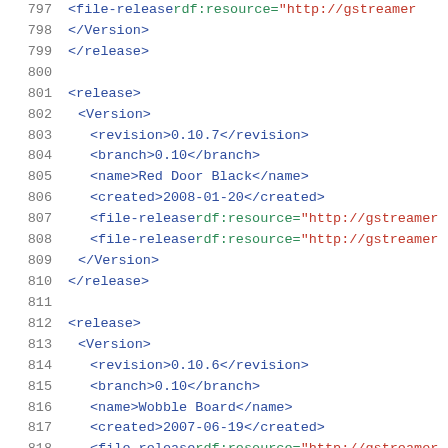797   <file-release rdf:resource="http://gstreamer...
798   </Version>
799   </release>
800
801   <release>
802    <Version>
803      <revision>0.10.7</revision>
804      <branch>0.10</branch>
805      <name>Red Door Black</name>
806      <created>2008-01-20</created>
807      <file-release rdf:resource="http://gstreamer...
808      <file-release rdf:resource="http://gstreamer...
809    </Version>
810   </release>
811
812   <release>
813    <Version>
814      <revision>0.10.6</revision>
815      <branch>0.10</branch>
816      <name>Wobble Board</name>
817      <created>2007-06-19</created>
818      <file-release rdf:resource="http://gstreamer...